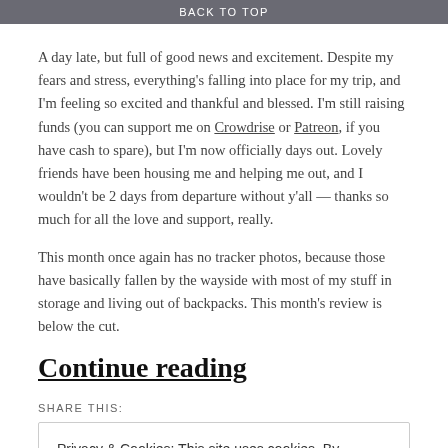BACK TO TOP
A day late, but full of good news and excitement. Despite my fears and stress, everything's falling into place for my trip, and I'm feeling so excited and thankful and blessed. I'm still raising funds (you can support me on Crowdrise or Patreon, if you have cash to spare), but I'm now officially days out. Lovely friends have been housing me and helping me out, and I wouldn't be 2 days from departure without y'all — thanks so much for all the love and support, really.
This month once again has no tracker photos, because those have basically fallen by the wayside with most of my stuff in storage and living out of backpacks. This month's review is below the cut.
Continue reading
SHARE THIS:
Privacy & Cookies: This site uses cookies. By continuing to use this website, you agree to their use.
To find out more, including how to control cookies, see here: Cookie Policy
Close and accept